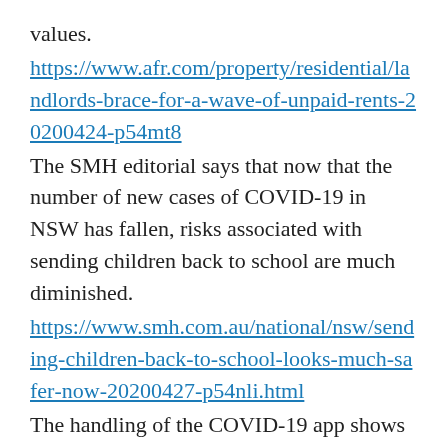values.
https://www.afr.com/property/residential/landlords-brace-for-a-wave-of-unpaid-rents-20200424-p54mt8
The SMH editorial says that now that the number of new cases of COVID-19 in NSW has fallen, risks associated with sending children back to school are much diminished.
https://www.smh.com.au/national/nsw/sending-children-back-to-school-looks-much-safer-now-20200427-p54nli.html
The handling of the COVID-19 app shows up a huge trust deficit says Paul Bongiorno.
https://thenewdaily.com.au/news/2020/04/28/coronavirus-covid-19-app-trust/
Angus Livingston tells us how the Angus Taylor